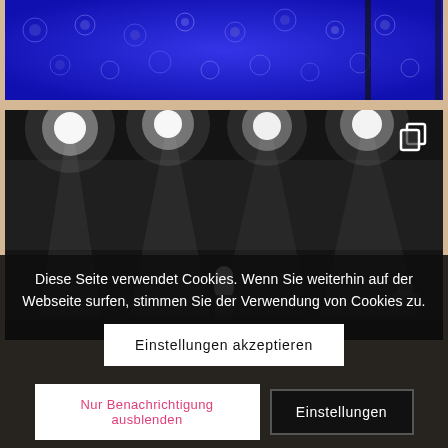[Figure (photo): Top portion of a concert or event venue with blue/purple stage lighting and circular light patterns on the ceiling]
[Figure (photo): Black and white photo of a performer on stage with bright overhead stage lights and fog/haze, with other musicians visible in the background. A copy/duplicate icon is visible in the top right corner.]
Diese Seite verwendet Cookies. Wenn Sie weiterhin auf der Webseite surfen, stimmen Sie der Verwendung von Cookies zu.
Einstellungen akzeptieren
Nur Benachrichtigung ausblenden
Einstellungen